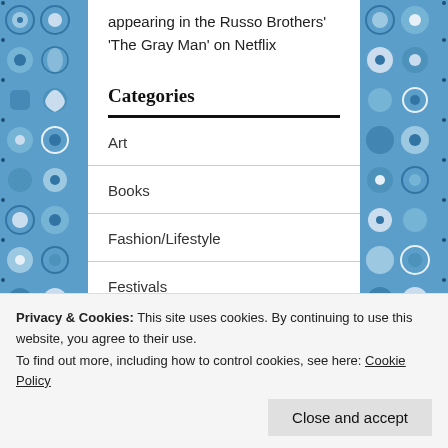appearing in the Russo Brothers' 'The Gray Man' on Netflix
Categories
Art
Books
Fashion/Lifestyle
Festivals
Privacy & Cookies: This site uses cookies. By continuing to use this website, you agree to their use.
To find out more, including how to control cookies, see here: Cookie Policy
Close and accept
Main Story